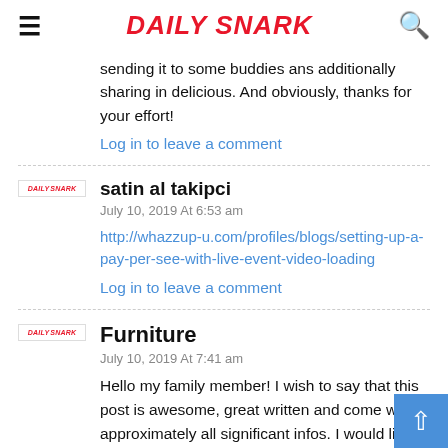DAILY SNARK
sending it to some buddies ans additionally sharing in delicious. And obviously, thanks for your effort!
Log in to leave a comment
satin al takipci
July 10, 2019 At 6:53 am
http://whazzup-u.com/profiles/blogs/setting-up-a-pay-per-see-with-live-event-video-loading
Log in to leave a comment
Furniture
July 10, 2019 At 7:41 am
Hello my family member! I wish to say that this post is awesome, great written and come with approximately all significant infos. I would like to see more posts like this.